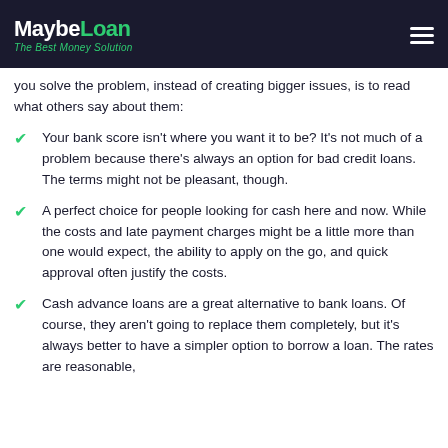MaybeLoan — The Best Money Solution
you solve the problem, instead of creating bigger issues, is to read what others say about them:
Your bank score isn't where you want it to be? It's not much of a problem because there's always an option for bad credit loans. The terms might not be pleasant, though.
A perfect choice for people looking for cash here and now. While the costs and late payment charges might be a little more than one would expect, the ability to apply on the go, and quick approval often justify the costs.
Cash advance loans are a great alternative to bank loans. Of course, they aren't going to replace them completely, but it's always better to have a simpler option to borrow a loan. The rates are reasonable,